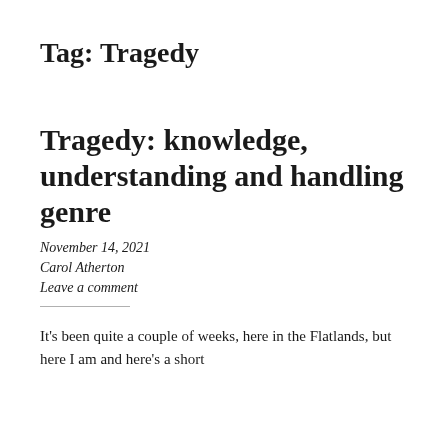Tag: Tragedy
Tragedy: knowledge, understanding and handling genre
November 14, 2021
Carol Atherton
Leave a comment
It's been quite a couple of weeks, here in the Flatlands, but here I am and here's a short...